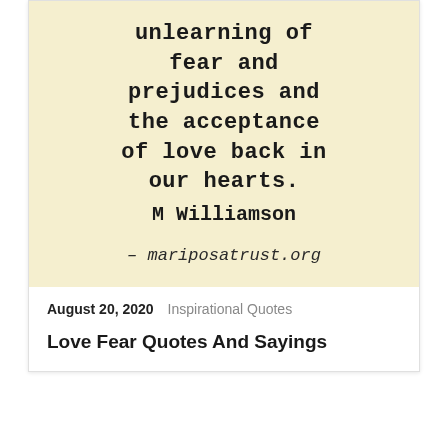[Figure (illustration): A vintage parchment-style image with typewriter font text showing a quote about unlearning fear and prejudices and the acceptance of love back in our hearts, attributed to M Williamson, with mariposatrust.org at the bottom.]
August 20, 2020  Inspirational Quotes
Love Fear Quotes And Sayings